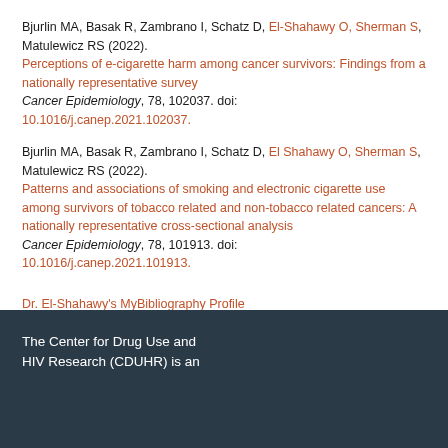Bjurlin MA, Basak R, Zambrano I, Schatz D, El-Shahawy O, Sherman S, Matulewicz RS (2022). Perceptions of e-cigarette harm among cancer survivors: Findings from a nationally representative survey Cancer Epidemiology, 78, 102037. doi: 10.1016/j.canep.2021.102037.
Bjurlin MA, Basak R, Zambrano I, Schatz D, El Shahawy O, Sherman S, Matulewicz RS (2022). Patterns and associations of smoking and electronic cigarette use among survivors of tobacco related and non-tobacco related cancers: A nationally representative cross-sectional analysis Cancer Epidemiology, 78, 101913. doi: 10.1016/j.canep.2021.101913.
Dr. El-Shahawy's MyBibliography Profile
The Center for Drug Use and HIV Research (CDUHR) is an